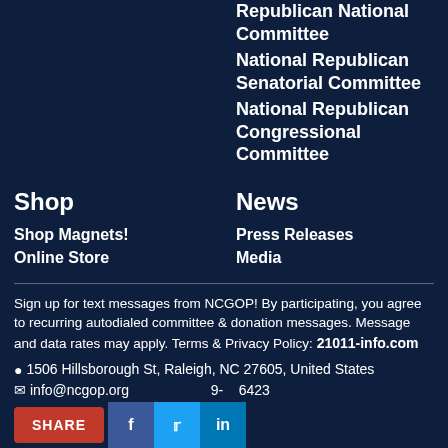Republican National Committee
National Republican Senatorial Committee
National Republican Congressional Committee
Shop
Shop Magnets!
Online Store
News
Press Releases
Media
Sign up for text messages from NCGOP! By participating, you agree to recurring autodialed committee & donation messages. Message and data rates may apply. Terms & Privacy Policy: 21011-info.com
1506 Hillsborough St, Raleigh, NC 27605, United States
info@ncgop.org  919-828-6423